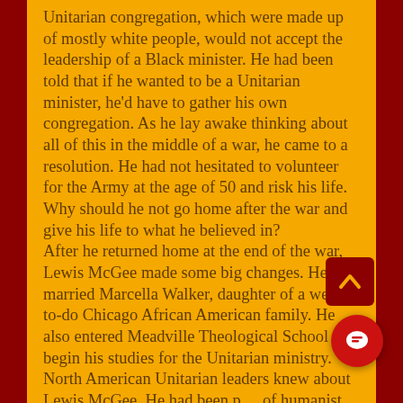Unitarian congregation, which were made up of mostly white people, would not accept the leadership of a Black minister. He had been told that if he wanted to be a Unitarian minister, he'd have to gather his own congregation. As he lay awake thinking about all of this in the middle of a war, he came to a resolution. He had not hesitated to volunteer for the Army at the age of 50 and risk his life. Why should he not go home after the war and give his life to what he believed in?
After he returned home at the end of the war, Lewis McGee made some big changes. He married Marcella Walker, daughter of a well-to-do Chicago African American family. He also entered Meadville Theological School to begin his studies for the Unitarian ministry.
North American Unitarian leaders knew about Lewis McGee. He had been part of humanist groups for a long time and was on the governing board of the American Humanist Association, all the